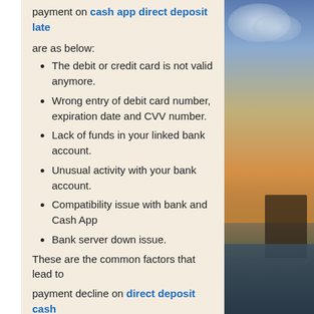payment on cash app direct deposit late
are as below:
The debit or credit card is not valid anymore.
Wrong entry of debit card number, expiration date and CVV number.
Lack of funds in your linked bank account.
Unusual activity with your bank account.
Compatibility issue with bank and Cash App
Bank server down issue.
These are the common factors that lead to payment decline on direct deposit cash app from the bank. You should always link a valid debit/credit card with Cash App. Enter
[Figure (photo): Sunset landscape photo showing a pier, water, rocks, and golden sky with clouds]